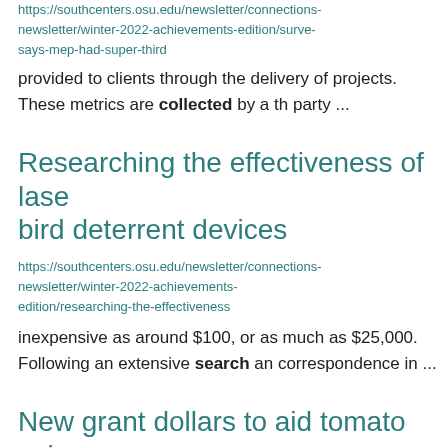https://southcenters.osu.edu/newsletter/connections-newsletter/winter-2022-achievements-edition/surve-says-mep-had-super-third
provided to clients through the delivery of projects. These metrics are collected by a th party ...
Researching the effectiveness of lase bird deterrent devices
https://southcenters.osu.edu/newsletter/connections-newsletter/winter-2022-achievements-edition/researching-the-effectiveness
inexpensive as around $100, or as much as $25,000. Following an extensive search an correspondence in ...
New grant dollars to aid tomato soi